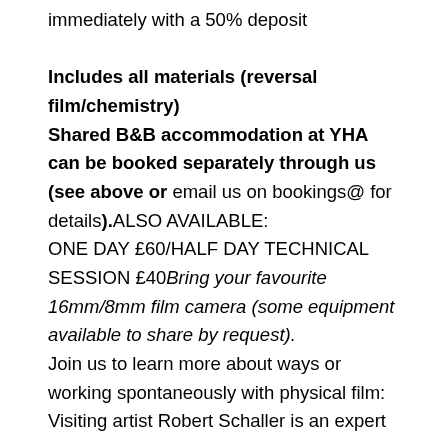immediately with a 50% deposit Includes all materials (reversal film/chemistry) Shared B&B accommodation at YHA can be booked separately through us (see above or email us on bookings@ for details).ALSO AVAILABLE: ONE DAY £60/HALF DAY TECHNICAL SESSION £40Bring your favourite 16mm/8mm film camera (some equipment available to share by request). Join us to learn more about ways or working spontaneously with physical film: Visiting artist Robert Schaller is an expert